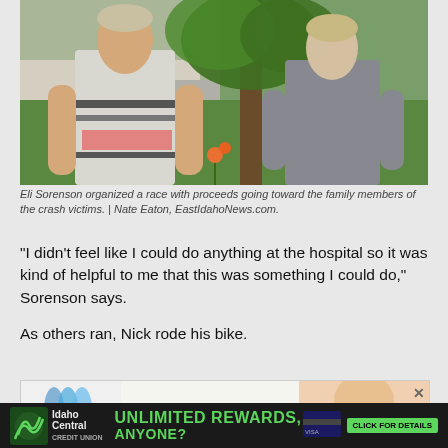[Figure (photo): Two teenage boys standing outdoors under a tree, facing each other and talking. Green lawn and suburban neighborhood in background. One boy wears a floral-striped t-shirt, the other a grey t-shirt.]
Eli Sorenson organized a race with proceeds going toward the family members of the crash victims. | Nate Eaton, EastIdahoNews.com.
“I didn’t feel like I could do anything at the hospital so it was kind of helpful to me that this was something I could do,” Sorenson says.
As others ran, Nick rode his bike.
[Figure (photo): Advertisement banner showing Paragon logo with decorative swirl graphic and a partial photo of a person.]
[Figure (photo): Advertisement for Idaho Central Credit Union showing logo and text: UNLIMITED REWARDS, ANYONE? CLICK FOR DETAILS with a credit card image and VISA logo.]